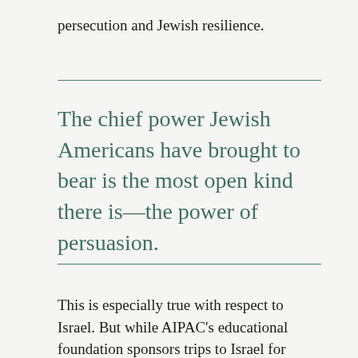persecution and Jewish resilience.
The chief power Jewish Americans have brought to bear is the most open kind there is—the power of persuasion.
This is especially true with respect to Israel. But while AIPAC's educational foundation sponsors trips to Israel for members of Congress, faith